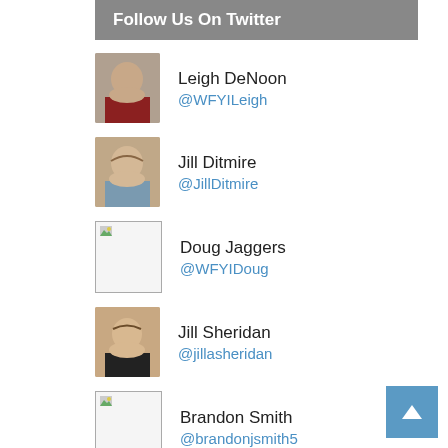Follow Us On Twitter
Leigh DeNoon @WFYILeigh
Jill Ditmire @JillDitmire
Doug Jaggers @WFYIDoug
Jill Sheridan @jillasheridan
Brandon Smith @brandonjsmith5
Eric Weddle @ericweddle
Casey Williams